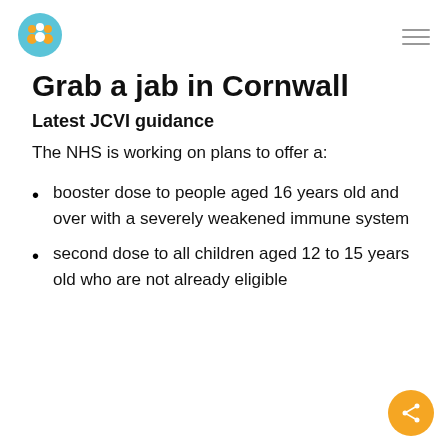Grab a jab in Cornwall - logo header
Grab a jab in Cornwall
Latest JCVI guidance
The NHS is working on plans to offer a:
booster dose to people aged 16 years old and over with a severely weakened immune system
second dose to all children aged 12 to 15 years old who are not already eligible